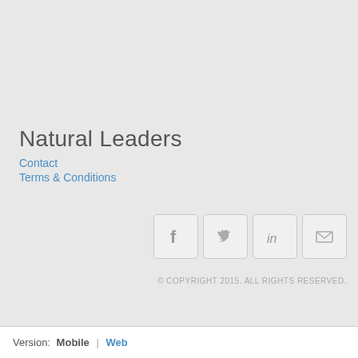Natural Leaders
Contact
Terms & Conditions
[Figure (other): Social media icons: Facebook, Twitter, LinkedIn, Email in rounded square buttons]
© COPYRIGHT 2015. ALL RIGHTS RESERVED.
Version:  Mobile | Web